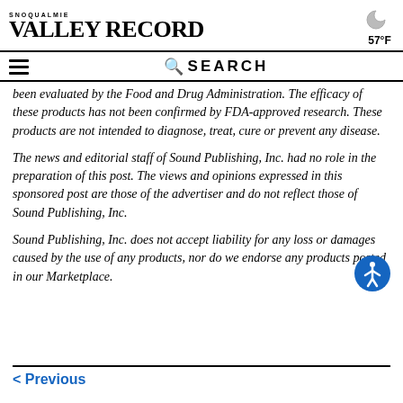Snoqualmie Valley Record — 57°F
been evaluated by the Food and Drug Administration. The efficacy of these products has not been confirmed by FDA-approved research. These products are not intended to diagnose, treat, cure or prevent any disease.
The news and editorial staff of Sound Publishing, Inc. had no role in the preparation of this post. The views and opinions expressed in this sponsored post are those of the advertiser and do not reflect those of Sound Publishing, Inc.
Sound Publishing, Inc. does not accept liability for any loss or damages caused by the use of any products, nor do we endorse any products posted in our Marketplace.
< Previous